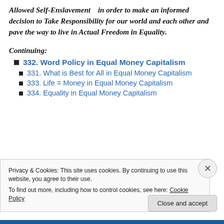Allowed Self-Enslavement in order to make an informed decision to Take Responsibility for our world and each other and pave the way to live in Actual Freedom in Equality.
Continuing:
332. Word Policy in Equal Money Capitalism
331. What is Best for All in Equal Money Capitalism
333. Life = Money in Equal Money Capitalism
334. Equality in Equal Money Capitalism
Privacy & Cookies: This site uses cookies. By continuing to use this website, you agree to their use. To find out more, including how to control cookies, see here: Cookie Policy
Close and accept